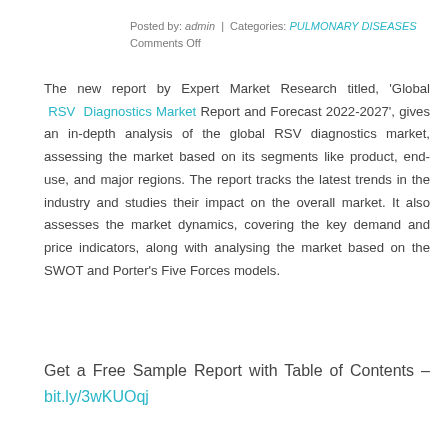Posted by: admin | Categories: PULMONARY DISEASES Comments Off
The new report by Expert Market Research titled, 'Global RSV Diagnostics Market Report and Forecast 2022-2027', gives an in-depth analysis of the global RSV diagnostics market, assessing the market based on its segments like product, end-use, and major regions. The report tracks the latest trends in the industry and studies their impact on the overall market. It also assesses the market dynamics, covering the key demand and price indicators, along with analysing the market based on the SWOT and Porter's Five Forces models.
Get a Free Sample Report with Table of Contents – bit.ly/3wKUOqj